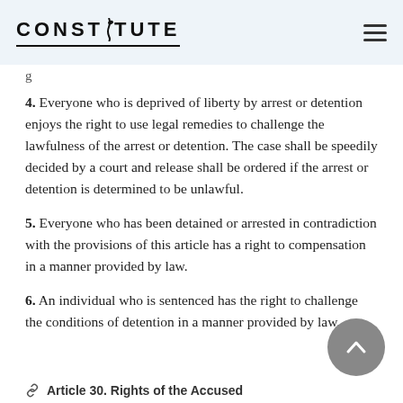CONSTITUTE
g
4. Everyone who is deprived of liberty by arrest or detention enjoys the right to use legal remedies to challenge the lawfulness of the arrest or detention. The case shall be speedily decided by a court and release shall be ordered if the arrest or detention is determined to be unlawful.
5. Everyone who has been detained or arrested in contradiction with the provisions of this article has a right to compensation in a manner provided by law.
6. An individual who is sentenced has the right to challenge the conditions of detention in a manner provided by law.
Article 30. Rights of the Accused